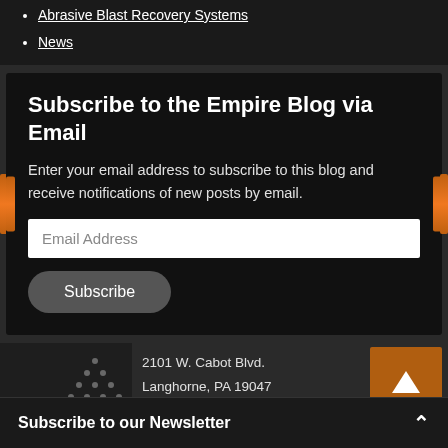Abrasive Blast Recovery Systems
News
Subscribe to the Empire Blog via Email
Enter your email address to subscribe to this blog and receive notifications of new posts by email.
Email Address
Subscribe
2101 W. Cabot Blvd.
Langhorne, PA 19047
[Figure (illustration): Made in USA promotional image with dot grid triangle and 'Made in' text overlay]
[Figure (other): Orange up-arrow button for scroll to top]
Subscribe to our Newsletter